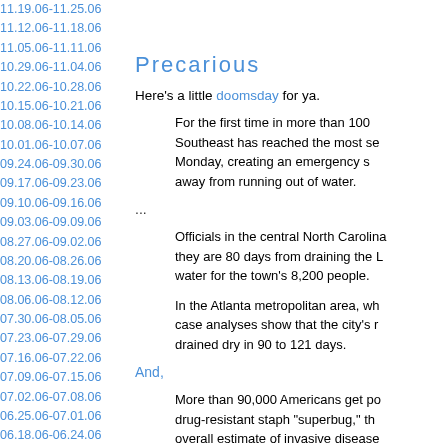11.19.06-11.25.06
11.12.06-11.18.06
11.05.06-11.11.06
10.29.06-11.04.06
10.22.06-10.28.06
10.15.06-10.21.06
10.08.06-10.14.06
10.01.06-10.07.06
09.24.06-09.30.06
09.17.06-09.23.06
09.10.06-09.16.06
09.03.06-09.09.06
08.27.06-09.02.06
08.20.06-08.26.06
08.13.06-08.19.06
08.06.06-08.12.06
07.30.06-08.05.06
07.23.06-07.29.06
07.16.06-07.22.06
07.09.06-07.15.06
07.02.06-07.08.06
06.25.06-07.01.06
06.18.06-06.24.06
06.11.06-06.17.06
06.04.06-06.10.06
05.28.06-06.03.06
05.21.06-05.27.06
05.14.06-05.20.06
05.07.06-05.13.06
04.30.06-05.06.06
04.23.06-04.29.06
04.16.06-04.22.06
04.09.06-04.15.06
Precarious
Here's a little doomsday for ya.
For the first time in more than 100 Southeast has reached the most se Monday, creating an emergency s away from running out of water.
...
Officials in the central North Carolina they are 80 days from draining the L water for the town's 8,200 people.
In the Atlanta metropolitan area, wh case analyses show that the city's r drained dry in 90 to 121 days.
And,
More than 90,000 Americans get po drug-resistant staph "superbug," th overall estimate of invasive disease